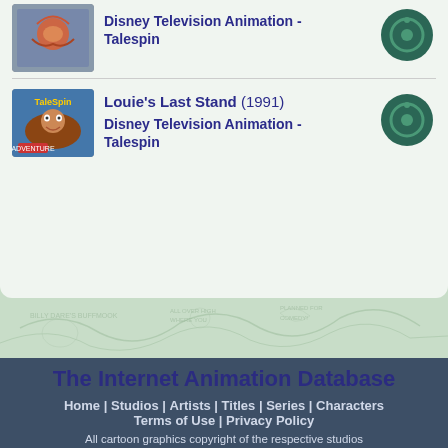Disney Television Animation - Talespin
Louie's Last Stand (1991) Disney Television Animation - Talespin
The Internet Animation Database
Home | Studios | Artists | Titles | Series | Characters
Terms of Use | Privacy Policy
All cartoon graphics copyright of the respective studios
"Buddy" ratings graphic edited from the poster "Swing, You Sinners" by Nico Colaleo and used here with his permission.
All other graphics and content copyright 2011 The Internet Animation Database